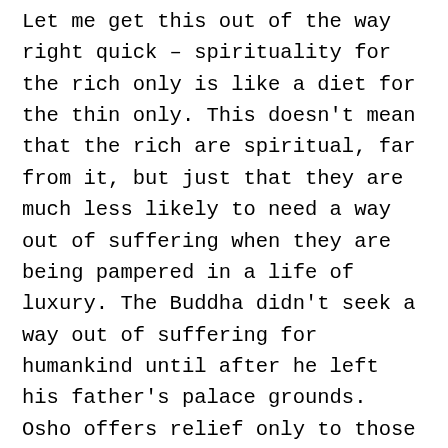Let me get this out of the way right quick – spirituality for the rich only is like a diet for the thin only. This doesn't mean that the rich are spiritual, far from it, but just that they are much less likely to need a way out of suffering when they are being pampered in a life of luxury. The Buddha didn't seek a way out of suffering for humankind until after he left his father's palace grounds. Osho offers relief only to those who reside within the equivalent of today's palace grounds, and who are just looking for a placebo to assuage their guilty consciences. Deep down, they know they have far more than they need while others truly suffer, and they seek even more, and at the expense of others. Who better to help them self-delude than a guru who does the same thing: exults in ridiculous luxury while demanding his